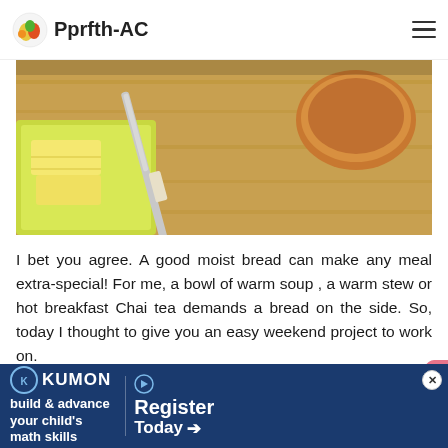Pprfth-AC
[Figure (photo): Close-up photo of butter slices on a wooden cutting board with a knife, and bread in the background]
I bet you agree. A good moist bread can make any meal extra-special! For me, a bowl of warm soup , a warm stew or hot breakfast Chai tea demands a bread on the side. So, today I thought to give you an easy weekend project to work on.
This pumpkin bread is as easy as mix, pour and bake! Since it is a quick bread, there is no wait between mixing and
[Figure (infographic): Kumon advertisement banner: build & advance your child's math skills — Register Today]